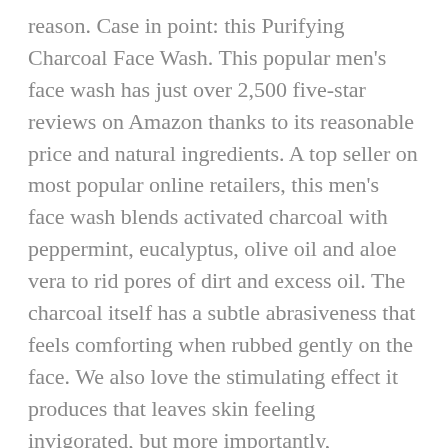reason. Case in point: this Purifying Charcoal Face Wash. This popular men's face wash has just over 2,500 five-star reviews on Amazon thanks to its reasonable price and natural ingredients. A top seller on most popular online retailers, this men's face wash blends activated charcoal with peppermint, eucalyptus, olive oil and aloe vera to rid pores of dirt and excess oil. The charcoal itself has a subtle abrasiveness that feels comforting when rubbed gently on the face. We also love the stimulating effect it produces that leaves skin feeling invigorated, but more importantly, refreshed.
Buy: Brickell Purifying Charcoal Face Wash $13.00
9. Oars + Alps Natural Solid Face Wash
What is your first line of defense from free radicals? Your face. Whether it's riding on an airplane or commuting through busy on-foot